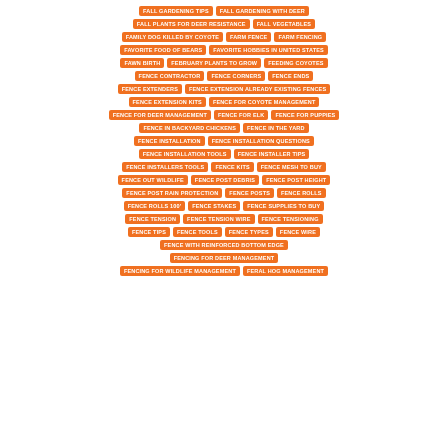[Figure (infographic): Tag cloud of search terms related to fencing, gardening, and wildlife management. Orange pill-shaped tags on white background arranged in rows forming a diamond/oval shape. Tags include: FALL GARDENING TIPS, FALL GARDENING WITH DEER, FALL PLANTS FOR DEER RESISTANCE, FALL VEGETABLES, FAMILY DOG KILLED BY COYOTE, FARM FENCE, FARM FENCING, FAVORITE FOOD OF BEARS, FAVORITE HOBBIES IN UNITED STATES, FAWN BIRTH, FEBRUARY PLANTS TO GROW, FEEDING COYOTES, FENCE CONTRACTOR, FENCE CORNERS, FENCE ENDS, FENCE EXTENDERS, FENCE EXTENSION ALREADY EXISTING FENCES, FENCE EXTENSION KITS, FENCE FOR COYOTE MANAGEMENT, FENCE FOR DEER MANAGEMENT, FENCE FOR ELK, FENCE FOR PUPPIES, FENCE IN BACKYARD CHICKENS, FENCE IN THE YARD, FENCE INSTALLATION, FENCE INSTALLATION QUESTIONS, FENCE INSTALLATION TOOLS, FENCE INSTALLER TIPS, FENCE INSTALLERS TOOLS, FENCE KITS, FENCE MESH TO BUY, FENCE OUT WILDLIFE, FENCE POST DEBRIS, FENCE POST HEIGHT, FENCE POST RAIN PROTECTION, FENCE POSTS, FENCE ROLLS, FENCE ROLLS 100', FENCE STAKES, FENCE SUPPLIES TO BUY, FENCE TENSION, FENCE TENSION WIRE, FENCE TENSIONING, FENCE TIPS, FENCE TOOLS, FENCE TYPES, FENCE WIRE, FENCE WITH REINFORCED BOTTOM EDGE, FENCING FOR DEER MANAGEMENT, FENCING FOR WILDLIFE MANAGEMENT, FERAL HOG MANAGEMENT]